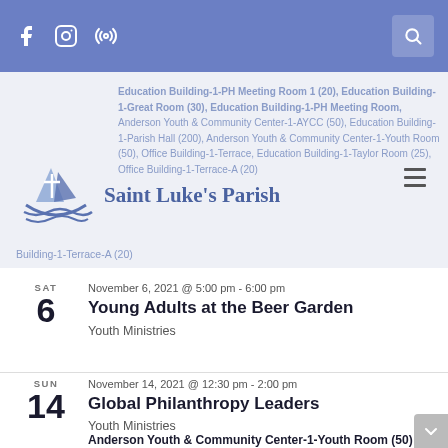Saint Luke's Parish - navigation bar with social/search icons
Education Building-1-PH Meeting Room 1 (20), Education Building-1-Great Room (30), Education Building-1-PH Meeting Room, Anderson Youth & Community Center-1-AYCC (50), Education Building-1-Parish Hall (200), Anderson Youth & Community Center-1-Youth Room (50), Office Building-1-Terrace, Education Building-1-Taylor Room (25), Office Building-1-Terrace-A (20)
Saint Luke's Parish
November 6, 2021 @ 5:00 pm - 6:00 pm
Young Adults at the Beer Garden
Youth Ministries
November 14, 2021 @ 12:30 pm - 2:00 pm
Global Philanthropy Leaders
Youth Ministries
Anderson Youth & Community Center-1-Youth Room (50)